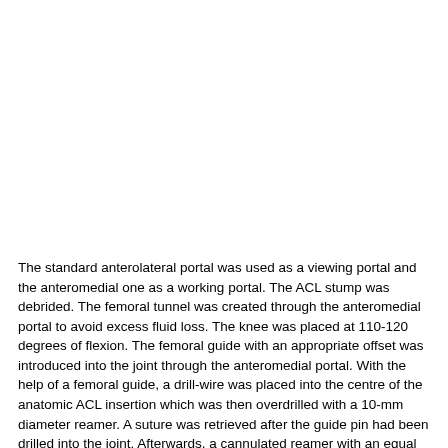The standard anterolateral portal was used as a viewing portal and the anteromedial one as a working portal. The ACL stump was debrided. The femoral tunnel was created through the anteromedial portal to avoid excess fluid loss. The knee was placed at 110-120 degrees of flexion. The femoral guide with an appropriate offset was introduced into the joint through the anteromedial portal. With the help of a femoral guide, a drill-wire was placed into the centre of the anatomic ACL insertion which was then overdrilled with a 10-mm diameter reamer. A suture was retrieved after the guide pin had been drilled into the joint. Afterwards, a cannulated reamer with an equal diameter to the graft created the tibial tunnel. A grasper was then placed through the tibial tunnel to retrieve the suture. Then the graft was passed through the tibia into the femoral socket, and once the graft was properly positioned in the tunnel, it was fixed with round cannulated interference screws (RCI). Firm traction was applied to the tibial bone block while putting the knee through the full range of knee motion in order to pretense the graft and make sure that there is no